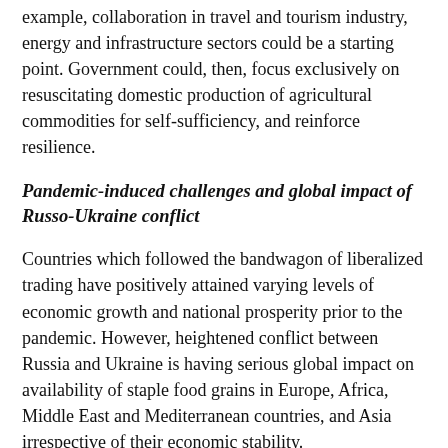example, collaboration in travel and tourism industry, energy and infrastructure sectors could be a starting point. Government could, then, focus exclusively on resuscitating domestic production of agricultural commodities for self-sufficiency, and reinforce resilience.
Pandemic-induced challenges and global impact of Russo-Ukraine conflict
Countries which followed the bandwagon of liberalized trading have positively attained varying levels of economic growth and national prosperity prior to the pandemic. However, heightened conflict between Russia and Ukraine is having serious global impact on availability of staple food grains in Europe, Africa, Middle East and Mediterranean countries, and Asia irrespective of their economic stability.
Fearing shortages and hoarding, India recently imposed export ban on rice, wheat, and sugar. Price escalation is, therefore, highly likely, and government may resort to subsidy. This action could